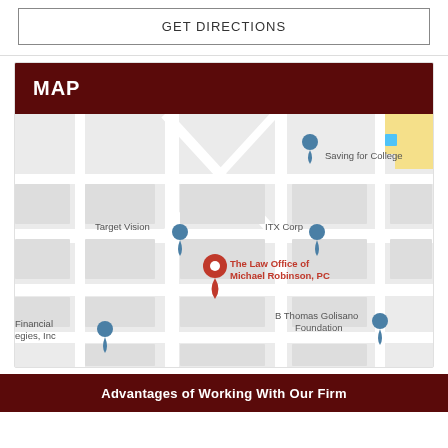GET DIRECTIONS
[Figure (map): Google Maps screenshot showing the location of The Law Office of Michael Robinson, PC. Nearby landmarks include Target Vision, ITX Corp, Saving for College, B Thomas Golisano Foundation, and Financial Strategies Inc. The law office is marked with a red pin in the center of the map.]
MAP
Advantages of Working With Our Firm